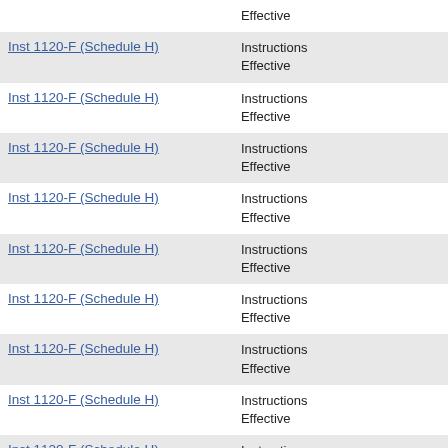| Form | Description |
| --- | --- |
| Inst 1120-F (Schedule H) | Instructions
Effective |
| Inst 1120-F (Schedule H) | Instructions
Effective |
| Inst 1120-F (Schedule H) | Instructions
Effective |
| Inst 1120-F (Schedule H) | Instructions
Effective |
| Inst 1120-F (Schedule H) | Instructions
Effective |
| Inst 1120-F (Schedule H) | Instructions
Effective |
| Inst 1120-F (Schedule H) | Instructions
Effective |
| Inst 1120-F (Schedule H) | Instructions
Effective |
| Inst 1120-F (Schedule H) | Instructions
Effective |
| Inst 1120-F (Schedule H) | Instructions
Effective |
| Inst 1120-F (Schedule H) | Instructions
Effective |
| Inst 1120-F (Schedule H) | Instructions |